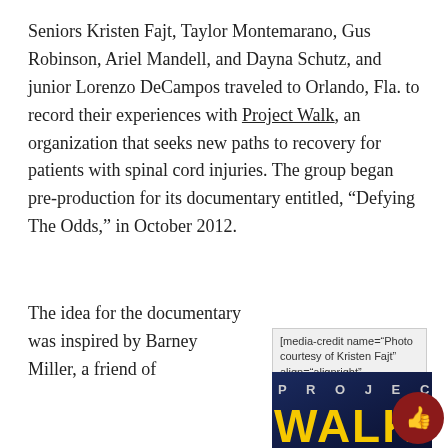Seniors Kristen Fajt, Taylor Montemarano, Gus Robinson, Ariel Mandell, and Dayna Schutz, and junior Lorenzo DeCampos traveled to Orlando, Fla. to record their experiences with Project Walk, an organization that seeks new paths to recovery for patients with spinal cord injuries. The group began pre-production for its documentary entitled, “Defying The Odds,” in October 2012.
The idea for the documentary was inspired by Barney Miller, a friend of
[media-credit name=“Photo courtesy of Kristen Fajt” align=“alignright” width=“300”]
[Figure (photo): Project Walk logo on dark blue background with large yellow letters spelling WALK and spaced letters PROJECT above]